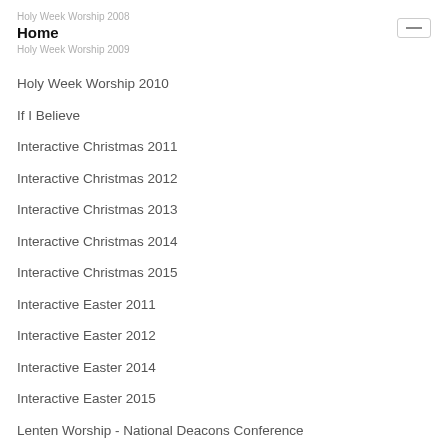Holy Week Worship 2008
Home
Holy Week Worship 2009
Holy Week Worship 2010
If I Believe
Interactive Christmas 2011
Interactive Christmas 2012
Interactive Christmas 2013
Interactive Christmas 2014
Interactive Christmas 2015
Interactive Easter 2011
Interactive Easter 2012
Interactive Easter 2014
Interactive Easter 2015
Lenten Worship - National Deacons Conference
Like a Candle Music